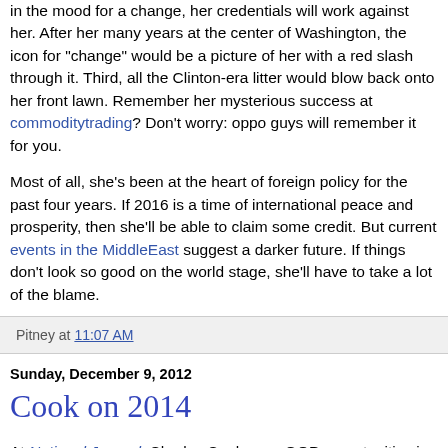in the mood for a change, her credentials will work against her. After her many years at the center of Washington, the icon for "change" would be a picture of her with a red slash through it. Third, all the Clinton-era litter would blow back onto her front lawn. Remember her mysterious success at commoditytrading? Don't worry: oppo guys will remember it for you.
Most of all, she's been at the heart of foreign policy for the past four years. If 2016 is a time of international peace and prosperity, then she'll be able to claim some credit. But current events in the MiddleEast suggest a darker future. If things don't look so good on the world stage, she'll have to take a lot of the blame.
Pitney at 11:07 AM
Sunday, December 9, 2012
Cook on 2014
At National Journal, Charles Cook sees GOP opportunities in